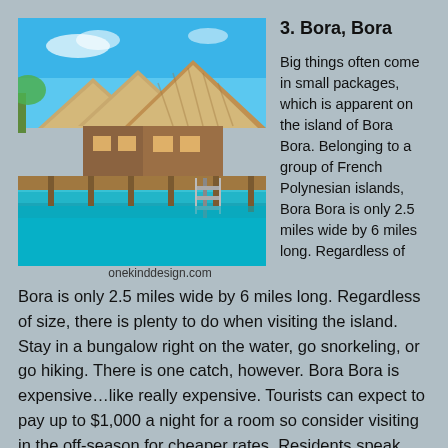[Figure (photo): Over-water bungalows with thatched roofs on turquoise water in Bora Bora]
onekinddesign.com
3. Bora, Bora
Big things often come in small packages, which is apparent on the island of Bora Bora. Belonging to a group of French Polynesian islands, Bora Bora is only 2.5 miles wide by 6 miles long. Regardless of size, there is plenty to do when visiting the island. Stay in a bungalow right on the water, go snorkeling, or go hiking. There is one catch, however. Bora Bora is expensive…like really expensive. Tourists can expect to pay up to $1,000 a night for a room so consider visiting in the off-season for cheaper rates. Residents speak either French, Tahitian, or English.